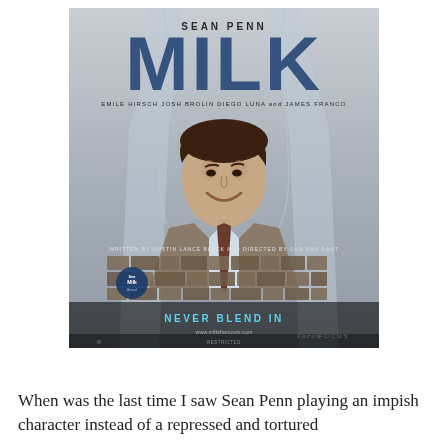[Figure (photo): Movie poster for 'Milk' starring Sean Penn. Dark blue large title text 'MILK' at top, cast names 'Emile Hirsch Josh Brolin Diego Luna and James Franco', a smiling man in a suit against a grey architectural background, tagline blocks reading 'NEVER BLEND IN', website www.milkthemovie.com, Focus Features branding.]
When was the last time I saw Sean Penn playing an impish character instead of a repressed and tortured